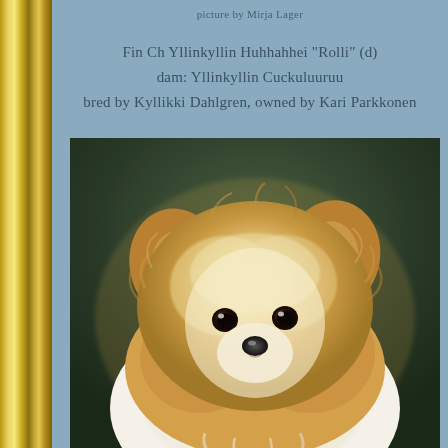picture by Mirja Lager
Fin Ch Yllinkyllin Huhhahhei "Rolli" (d)
dam: Yllinkyllin Cuckuluuruu
bred by Kyllikki Dahlgren, owned by Kari Parkkonen
[Figure (photo): Close-up photograph of a fluffy Pomeranian puppy with cream and golden fur, facing the camera, against a blurred dark green background.]